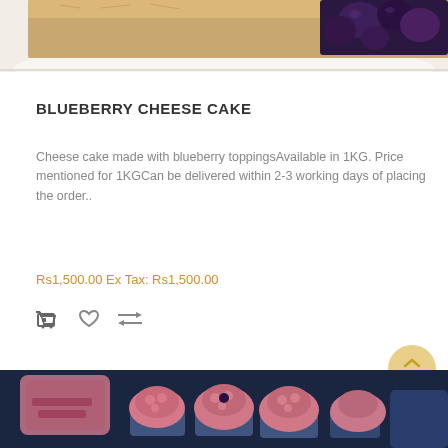[Figure (photo): Top portion of a blueberry cheesecake on a white plate, showing the golden-brown crumb crust and dark purple blueberry topping]
BLUEBERRY CHEESE CAKE
Cheese cake made with blueberry toppingsAvailable in 1KG. Price mentioned for 1KGCan be delivered within 2-3 working days of placing the order..
Rs1,500.00 Ex Tax: Rs1,500.00
[Figure (photo): Bottom portion showing pink/raspberry decorated cupcakes in blue paper cups arranged in a tray, with a pink container in the background]